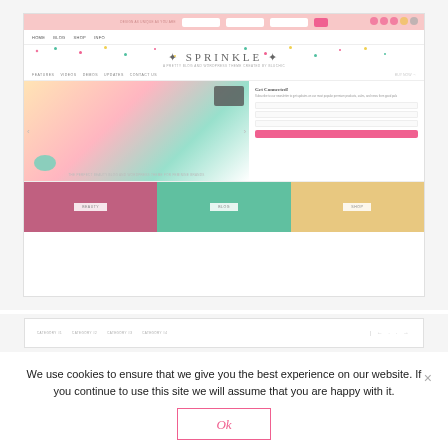[Figure (screenshot): Screenshot of 'Sprinkle' WordPress blog theme website showing navigation, logo with confetti dots, hero slideshow with flowers and keyboard, email signup box 'Get Connected!', and category grid with pink, teal, and yellow sections]
[Figure (screenshot): Partial screenshot showing a second page of the Sprinkle theme with category navigation: CATEGORY #1, CATEGORY #2, CATEGORY #3, CATEGORY #4 and pagination arrows]
We use cookies to ensure that we give you the best experience on our website. If you continue to use this site we will assume that you are happy with it.
Ok